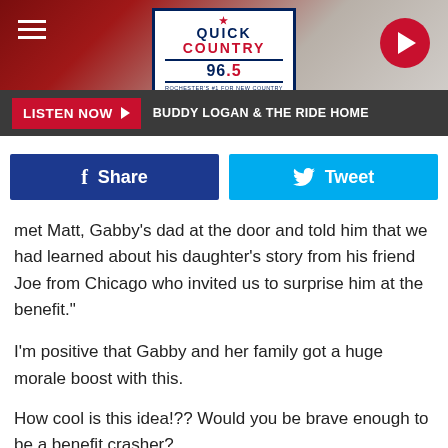Quick Country 96.5
LISTEN NOW  BUDDY LOGAN & THE RIDE HOME
[Figure (screenshot): Facebook Share button and Twitter Tweet button]
met Matt, Gabby's dad at the door and told him that we had learned about his daughter's story from his friend Joe from Chicago who invited us to surprise him at the benefit."
I'm positive that Gabby and her family got a huge morale boost with this.
How cool is this idea!?? Would you be brave enough to be a benefit crasher?
'LIKE' VAL ON FACEBOOK